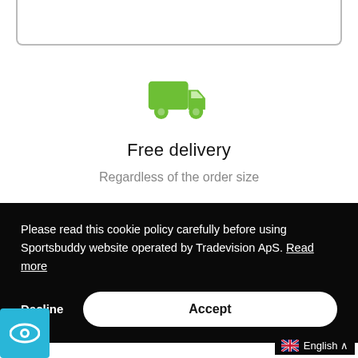[Figure (screenshot): Partial view of a green button/bar at the top of a website card UI]
[Figure (illustration): Green delivery truck icon]
Free delivery
Regardless of the order size
Please read this cookie policy carefully before using Sportsbuddy website operated by Tradevision ApS. Read more
Decline
Accept
[Figure (logo): Eye logo icon in a teal/blue square]
English